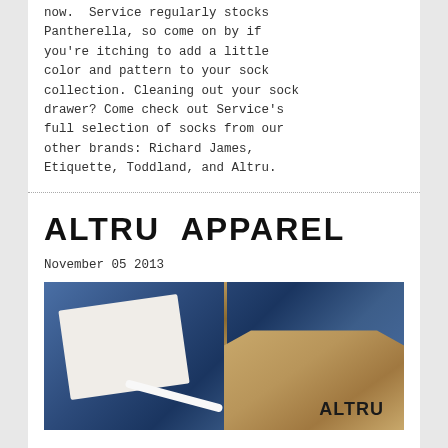now.  Service regularly stocks Pantherella, so come on by if you're itching to add a little color and pattern to your sock collection. Cleaning out your sock drawer? Come check out Service's full selection of socks from our other brands: Richard James, Etiquette, Toddland, and Altru.
ALTRU APPAREL
November 05 2013
[Figure (photo): Close-up photo of Altru Apparel product showing a denim jacket with zipper, white fabric/cloth item, white rope, and an Altru branded wooden tag in the lower right]